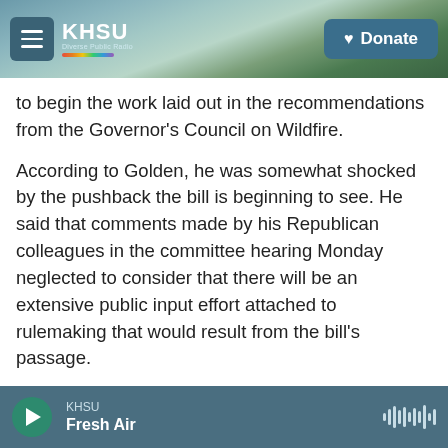KHSU | Diverse Public Radio | Donate
to begin the work laid out in the recommendations from the Governor's Council on Wildfire.
According to Golden, he was somewhat shocked by the pushback the bill is beginning to see. He said that comments made by his Republican colleagues in the committee hearing Monday neglected to consider that there will be an extensive public input effort attached to rulemaking that would result from the bill's passage.
“It’s been clear for a while that we weren’t headed to a unanimous vote, but I was surprised by the
KHSU | Fresh Air